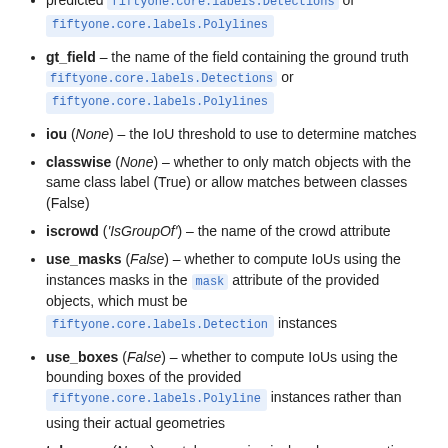predicted fiftyone.core.labels.Detections or fiftyone.core.labels.Polylines
gt_field – the name of the field containing the ground truth fiftyone.core.labels.Detections or fiftyone.core.labels.Polylines
iou (None) – the IoU threshold to use to determine matches
classwise (None) – whether to only match objects with the same class label (True) or allow matches between classes (False)
iscrowd ('IsGroupOf') – the name of the crowd attribute
use_masks (False) – whether to compute IoUs using the instances masks in the mask attribute of the provided objects, which must be fiftyone.core.labels.Detection instances
use_boxes (False) – whether to compute IoUs using the bounding boxes of the provided fiftyone.core.labels.Polyline instances rather than using their actual geometries
tolerance (None) – a tolerance, in pixels, when generating approximate polylines for instance masks